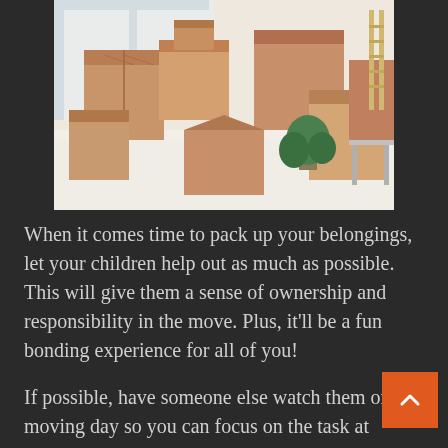[Figure (photo): Photo of a room filled with cardboard moving boxes, some open, a plant, and a chair visible near bright windows]
When it comes time to pack up your belongings, let your children help out as much as possible. This will give them a sense of ownership and responsibility in the move. Plus, it'll be a fun bonding experience for all of you!
If possible, have someone else watch them on moving day so you can focus on the task at